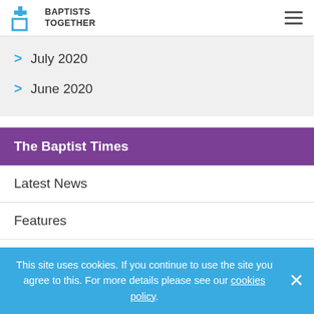Baptists Together
July 2020
June 2020
The Baptist Times
Latest News
Features
Opinions / Reflections
This site uses cookies. If you continue to use the site you agree to this. For more details please see our cookies policy.